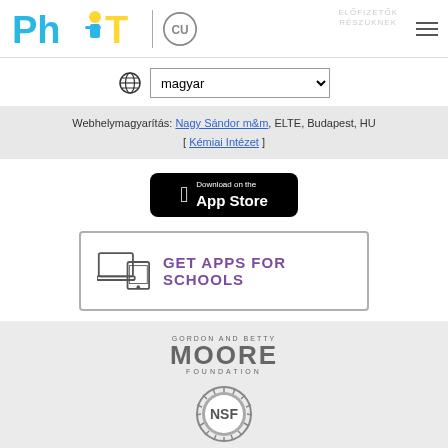[Figure (logo): PhET logo with blue text and CU Boulder logo, with hamburger menu on right]
[Figure (other): Language selector dropdown showing 'magyar' with globe icon]
Webhelymagyarítás: Nagy Sándor m&m, ELTE, Budapest, HU [ Kémiai Intézet ]
[Figure (other): Download on the App Store button (black, Apple logo)]
[Figure (other): GET APPS FOR SCHOOLS button with laptop/tablet icon in bordered box]
[Figure (logo): Gordon and Betty Moore Foundation logo]
[Figure (logo): NSF (National Science Foundation) logo emblem]